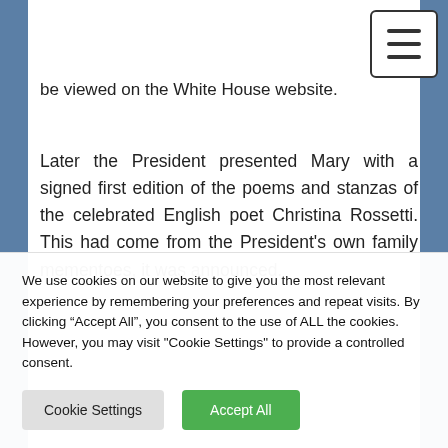be viewed on the White House website.
Later the President presented Mary with a signed first edition of the poems and stanzas of the celebrated English poet Christina Rossetti. This had come from the President's own family mementoes, it was announced.
The visit concluded as the President chose int...
We use cookies on our website to give you the most relevant experience by remembering your preferences and repeat visits. By clicking “Accept All”, you consent to the use of ALL the cookies. However, you may visit "Cookie Settings" to provide a controlled consent.